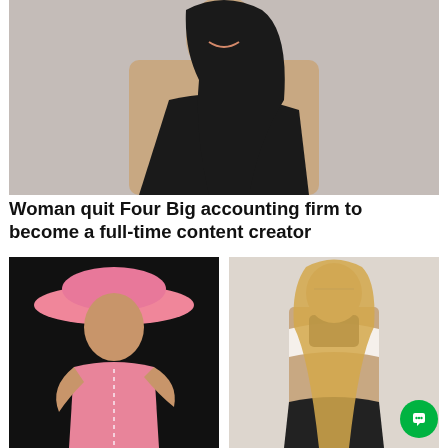[Figure (photo): Woman with long dark hair wearing a black one-shoulder top, smiling, against a light gray background]
Woman quit Four Big accounting firm to become a full-time content creator
[Figure (photo): Woman wearing a pink wide-brim hat and a pink body-con dress with zipper detail, against a dark background]
[Figure (photo): Woman taking a mirror selfie wearing a white bra top and black bikini bottoms, in a light-colored room]